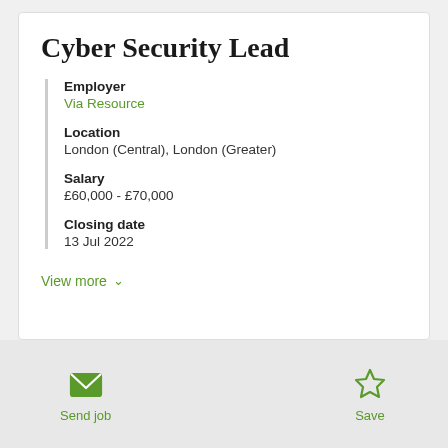Cyber Security Lead
Employer
Via Resource
Location
London (Central), London (Greater)
Salary
£60,000 - £70,000
Closing date
13 Jul 2022
View more
Send job
Save